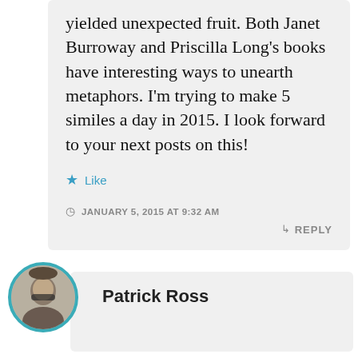yielded unexpected fruit. Both Janet Burroway and Priscilla Long’s books have interesting ways to unearth metaphors. I’m trying to make 5 similes a day in 2015. I look forward to your next posts on this!
Like
JANUARY 5, 2015 AT 9:32 AM
REPLY
Patrick Ross